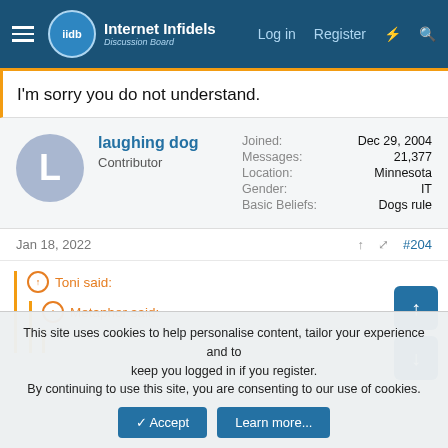Internet Infidels — Log in  Register
I'm sorry you do not understand.
laughing dog
Contributor
Joined: Dec 29, 2004
Messages: 21,377
Location: Minnesota
Gender: IT
Basic Beliefs: Dogs rule
Jan 18, 2022  #204
Toni said: ↑
Metaphor said: ↑
This site uses cookies to help personalise content, tailor your experience and to keep you logged in if you register.
By continuing to use this site, you are consenting to our use of cookies.